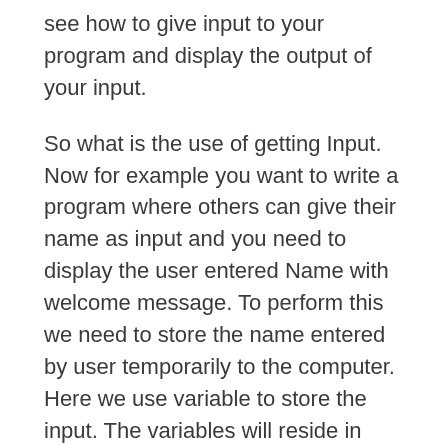see how to give input to your program and display the output of your input.
So what is the use of getting Input. Now for example you want to write a program where others can give their name as input and you need to display the user entered Name with welcome message. To perform this we need to store the name entered by user temporarily to the computer. Here we use variable to store the input. The variables will reside in computer memory temporarily till we close our program.
In this example program let us see how to store our name to variable and display the output from our program.